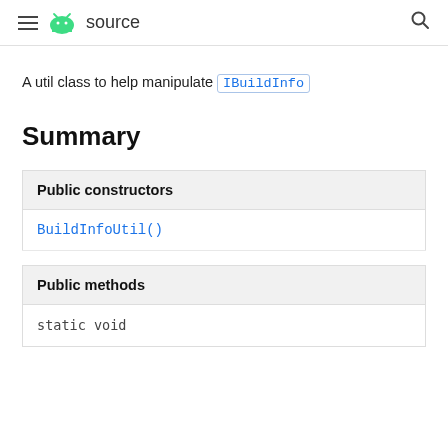≡  🤖 source  🔍
A util class to help manipulate IBuildInfo
Summary
| Public constructors |
| --- |
| BuildInfoUtil() |
| Public methods |
| --- |
| static void |